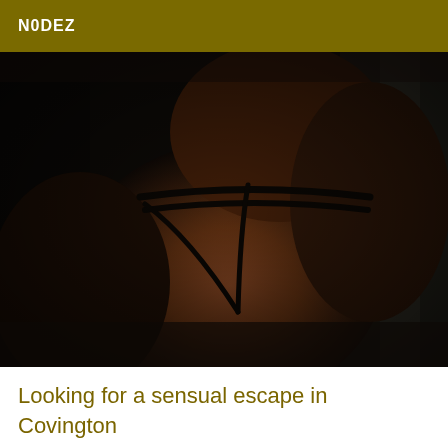N0DEZ
[Figure (photo): Close-up photograph of a person wearing a dark thong/bikini bottom, dimly lit, taken from behind near a window]
Looking for a sensual escape in Covington